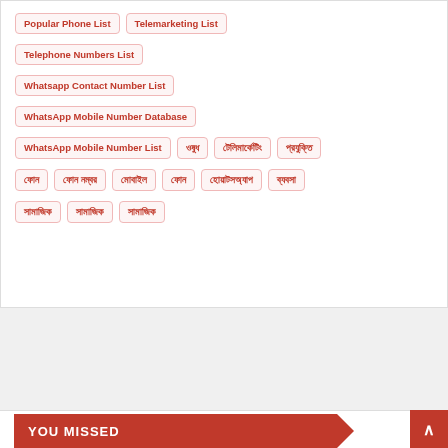Popular Phone List
Telemarketing List
Telephone Numbers List
Whatsapp Contact Number List
WhatsApp Mobile Number Database
WhatsApp Mobile Number List
ওষুধ
টেলিমার্কেটিং
প্রযুক্তি
ফোন
ফোন নম্বর
মোবাইল
হোয়াটসঅ্যাপ
ব্যবসা
সামাজিক
YOU MISSED